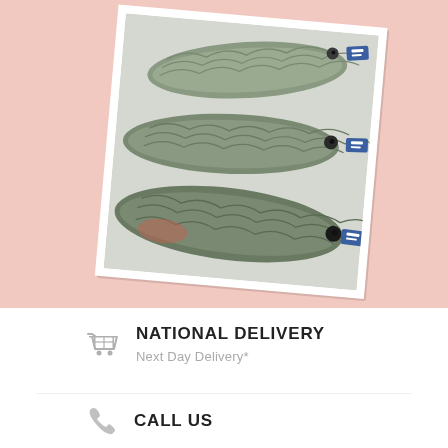[Figure (photo): A photograph of several whole fresh fish (sea bass/branzino) displayed on a white surface, with blue certification tags on their tails. The photo is presented at a slight angle as if placed on the pink background.]
NATIONAL DELIVERY
Next Day Delivery*
CALL US